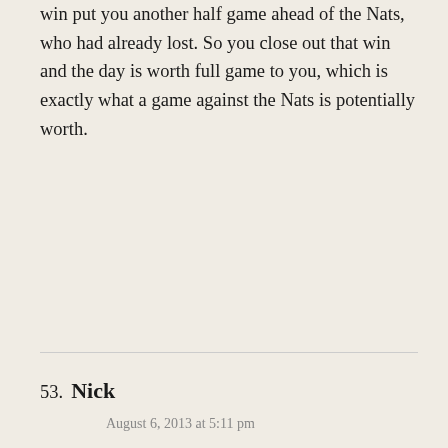win put you another half game ahead of the Nats, who had already lost. So you close out that win and the day is worth full game to you, which is exactly what a game against the Nats is potentially worth.
53. Nick
August 6, 2013 at 5:11 pm
Yes, but as we are the team that's ahead, a win over Washington directly means twice as much as a win over anyone else, as there's days off the calendar to consider. To wit, a win over Philly after Washington had already lost (which happened before our game even started) only advances our lead by one. A